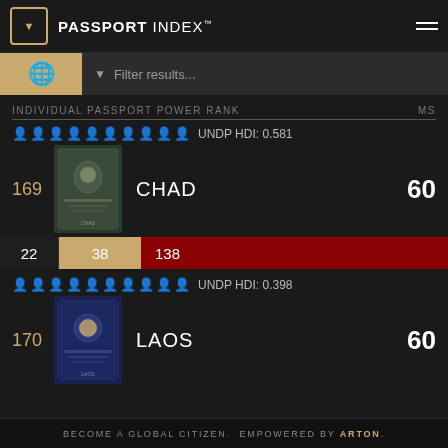PASSPORT INDEX
Filter results...
INDIVIDUAL PASSPORT POWER RANK   MS
UNDP HDI: 0.581
169  CHAD  60
22  38  138
UNDP HDI: 0.398
170  LAOS  60
BECOME A GLOBAL CITIZEN. EMPOWERED BY ARTON.